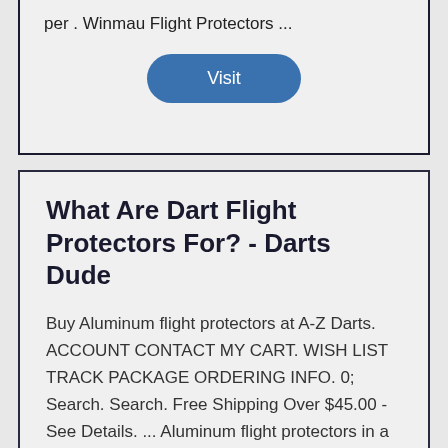per . Winmau Flight Protectors ...
Visit
What Are Dart Flight Protectors For? - Darts Dude
Buy Aluminum flight protectors at A-Z Darts. ACCOUNT CONTACT MY CART. WISH LIST TRACK PACKAGE ORDERING INFO. 0; Search. Search. Free Shipping Over $45.00 - See Details. ... Aluminum flight protectors in a wide array of colors. See our Flights menu for the largest flight selection online anywhere. Permalink